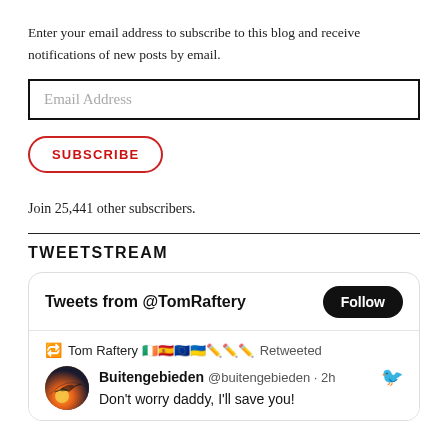Enter your email address to subscribe to this blog and receive notifications of new posts by email.
[Figure (other): Email address input field with placeholder text 'Email Address']
[Figure (other): Subscribe button with red oval border, red uppercase text 'SUBSCRIBE']
Join 25,441 other subscribers.
TWEETSTREAM
[Figure (screenshot): Twitter widget showing 'Tweets from @TomRaftery' with a Follow button, a retweet row showing Tom Raftery with flag emojis Retweeted, and a tweet from Buitengebieden @buitengebieden · 2h saying 'Don't worry daddy, I'll save you!' with a sunset/airplane avatar image.]